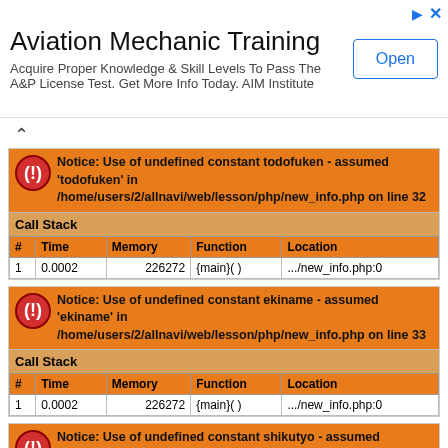[Figure (other): Advertisement banner for Aviation Mechanic Training by AIM Institute with an Open button]
Notice: Use of undefined constant todofuken - assumed 'todofuken' in /home/users/2/allnavi/web/lesson/php/new_info.php on line 32
| # | Time | Memory | Function | Location |
| --- | --- | --- | --- | --- |
| 1 | 0.0002 | 226272 | {main}( ) | .../new_info.php:0 |
Notice: Use of undefined constant ekiname - assumed 'ekiname' in /home/users/2/allnavi/web/lesson/php/new_info.php on line 33
| # | Time | Memory | Function | Location |
| --- | --- | --- | --- | --- |
| 1 | 0.0002 | 226272 | {main}( ) | .../new_info.php:0 |
Notice: Use of undefined constant shikutyo - assumed 'shikutyo' in /home/users/2/allnavi/web/lesson/php/new_info.php on line 34
| # | Time | Memory | Function | Location |
| --- | --- | --- | --- | --- |